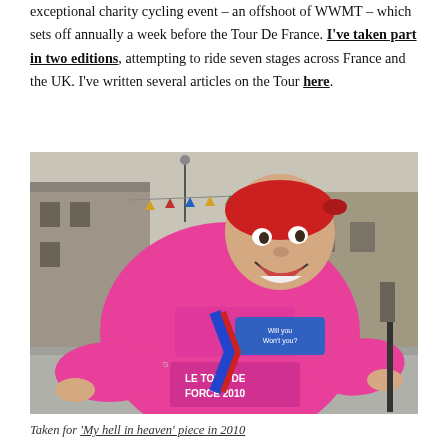exceptional charity cycling event – an offshoot of WWMT – which sets off annually a week before the Tour De France. I've taken part in two editions, attempting to ride seven stages across France and the UK. I've written several articles on the Tour here.
[Figure (photo): A cyclist wearing a pink jersey reading 'Le Tour De Force 2010' and 'Will you Won't you?' and 'WWMT' on the sleeve, with a red bandana on his head, leaning forward on a bike in a French village street with stone buildings in the background.]
Taken for 'My hell in heaven' piece in 2010